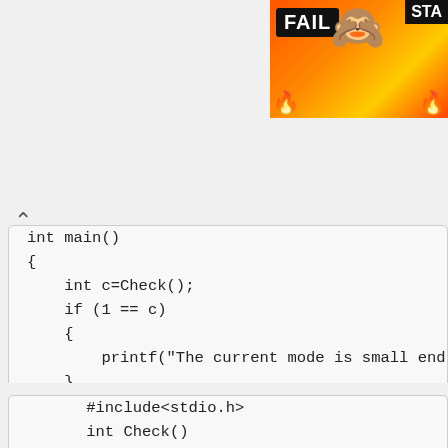[Figure (screenshot): Colorful FAIL banner advertisement with fire emoji, cartoon face, and STA text on black background]
[Figure (screenshot): Code editor showing C main() function with endianness check using if/else and printf statements]
[Figure (screenshot): Code editor showing beginning of another code block with #include<stdio.h>]